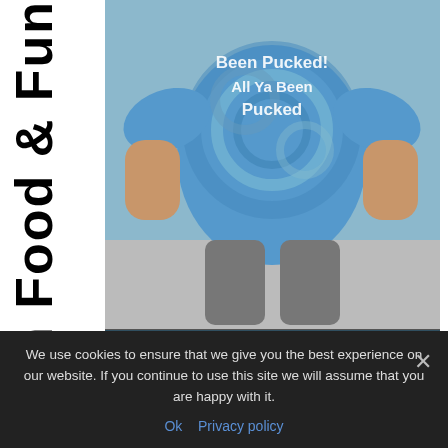t With Food & Fun
[Figure (photo): Person wearing a blue tie-dye t-shirt with text 'Been Pucked All Ya Been Pucked' and overlay text 'World Famous T-Shirts SOUVENIRS • GIFTS • BUY ONLINE']
Fudpucker's original restaurant in Destin is renowned for Great Food, Drinks, Live Alligators and World Famous T-shirts. We are Located in the heart of Destin directly on Highway 98. Fudpucker's Beachside Bar & Grill's Destin restaurant is the only
We use cookies to ensure that we give you the best experience on our website. If you continue to use this site we will assume that you are happy with it.
Ok  Privacy policy